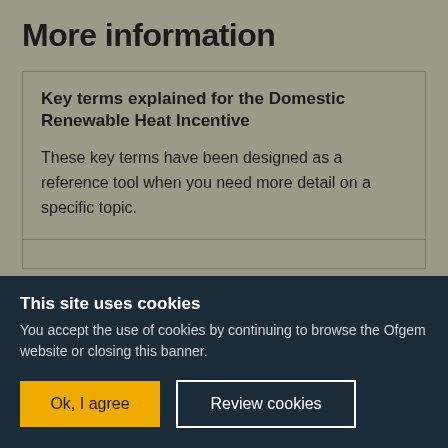More information
Key terms explained for the Domestic Renewable Heat Incentive
These key terms have been designed as a reference tool when you need more detail on a specific topic.
This site uses cookies
You accept the use of cookies by continuing to browse the Ofgem website or closing this banner.
Ok, I agree
Review cookies